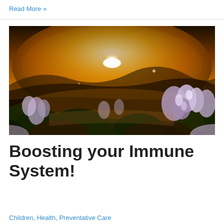Read More »
[Figure (photo): Field of purple/lavender wildflowers at golden sunset with bright sun glowing over rolling hills in the background, warm orange and golden tones, bokeh foreground flowers]
Boosting your Immune System!
Children, Health, Preventative Care